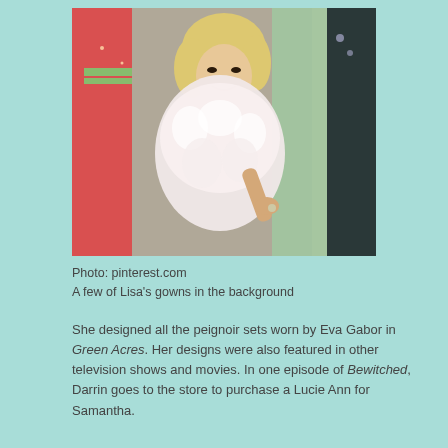[Figure (photo): A blonde woman in a fluffy white/pink feather boa or wrap, pointing, surrounded by colorful gowns hanging in the background including pink and green dresses.]
Photo: pinterest.com
A few of Lisa's gowns in the background
She designed all the peignoir sets worn by Eva Gabor in Green Acres. Her designs were also featured in other television shows and movies. In one episode of Bewitched, Darrin goes to the store to purchase a Lucie Ann for Samantha.